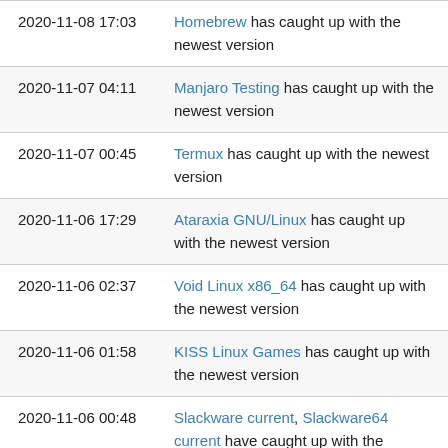2020-11-08 17:03 — Homebrew has caught up with the newest version
2020-11-07 04:11 — Manjaro Testing has caught up with the newest version
2020-11-07 00:45 — Termux has caught up with the newest version
2020-11-06 17:29 — Ataraxia GNU/Linux has caught up with the newest version
2020-11-06 02:37 — Void Linux x86_64 has caught up with the newest version
2020-11-06 01:58 — KISS Linux Games has caught up with the newest version
2020-11-06 00:48 — Slackware current, Slackware64 current have caught up with the newest version
2020-11-05 09:52 — Alpine Linux Edge has caught up with the newest version